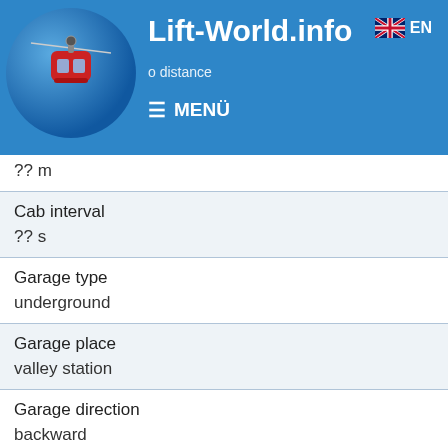Lift-World.info
| Field | Value |
| --- | --- |
|  | ?? m |
| Cab interval | ?? s |
| Garage type | underground |
| Garage place | valley station |
| Garage direction | backward |
| Loading direction | forward |